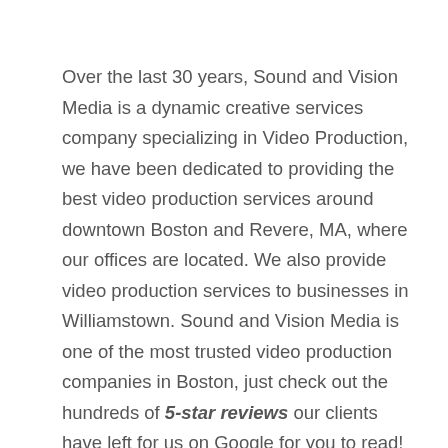Over the last 30 years, Sound and Vision Media is a dynamic creative services company specializing in Video Production, we have been dedicated to providing the best video production services around downtown Boston and Revere, MA, where our offices are located. We also provide video production services to businesses in Williamstown. Sound and Vision Media is one of the most trusted video production companies in Boston, just check out the hundreds of 5-star reviews our clients have left for us on Google for you to read! Our clients leave with a final product that they are proud of. While we work with a lot of companies in the Boston, MA area we also work with a lot of clients in states as close as New Hampshire and Rhode Island and international